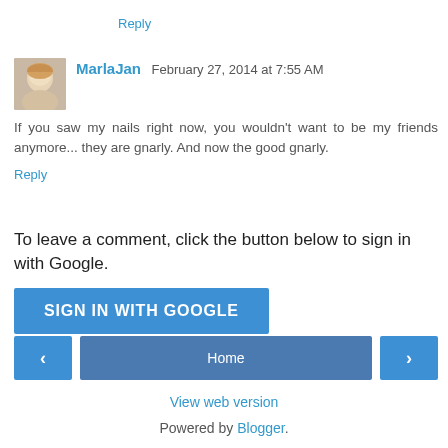Reply
MarlaJan  February 27, 2014 at 7:55 AM
If you saw my nails right now, you wouldn't want to be my friends anymore... they are gnarly. And now the good gnarly.
Reply
To leave a comment, click the button below to sign in with Google.
SIGN IN WITH GOOGLE
Home
View web version
Powered by Blogger.